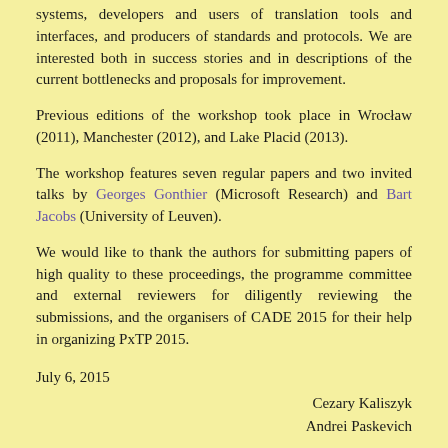systems, developers and users of translation tools and interfaces, and producers of standards and protocols. We are interested both in success stories and in descriptions of the current bottlenecks and proposals for improvement.
Previous editions of the workshop took place in Wrocław (2011), Manchester (2012), and Lake Placid (2013).
The workshop features seven regular papers and two invited talks by Georges Gonthier (Microsoft Research) and Bart Jacobs (University of Leuven).
We would like to thank the authors for submitting papers of high quality to these proceedings, the programme committee and external reviewers for diligently reviewing the submissions, and the organisers of CADE 2015 for their help in organizing PxTP 2015.
July 6, 2015
Cezary Kaliszyk
Andrei Paskevich
Organization